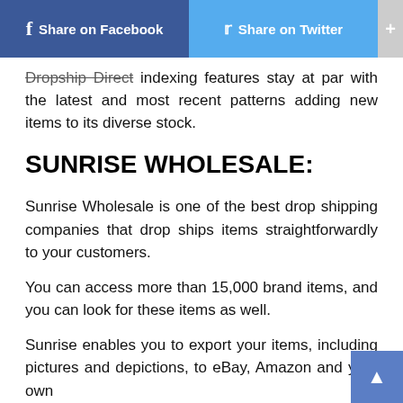Share on Facebook  Share on Twitter  +
Dropship Direct indexing features stay at par with the latest and most recent patterns adding new items to its diverse stock.
SUNRISE WHOLESALE:
Sunrise Wholesale is one of the best drop shipping companies that drop ships items straightforwardly to your customers.
You can access more than 15,000 brand items, and you can look for these items as well.
Sunrise enables you to export your items, including pictures and depictions, to eBay, Amazon and your own website.